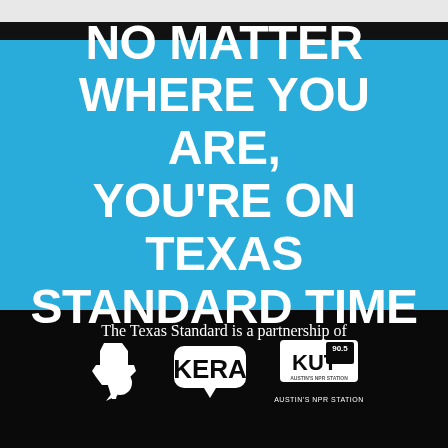NO MATTER WHERE YOU ARE, YOU'RE ON TEXAS STANDARD TIME
The Texas Standard is a partnership of
[Figure (logo): Texas Public Radio logo - white Texas state shape with speech bubble]
[Figure (logo): KERA logo - white rounded rectangle with KERA text]
[Figure (logo): KUT 90.5 logo - white rectangle with KUT 90.5 text and AUSTIN'S NPR STATION subtitle]